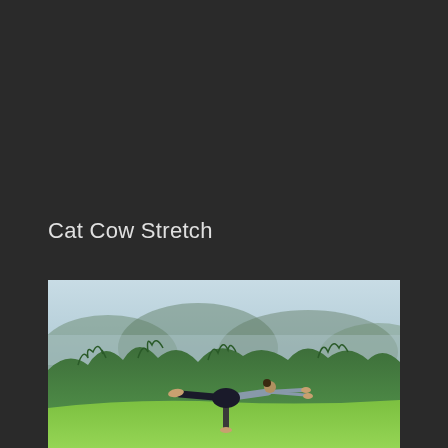Cat Cow Stretch
[Figure (photo): A woman performing a yoga balance pose (Warrior III / Virabhadrasana III) outdoors on a green hillside with misty mountains and trees in the background. She is wearing black shorts and a grey top, balancing on one leg with the other leg extended behind her and arms stretched forward.]